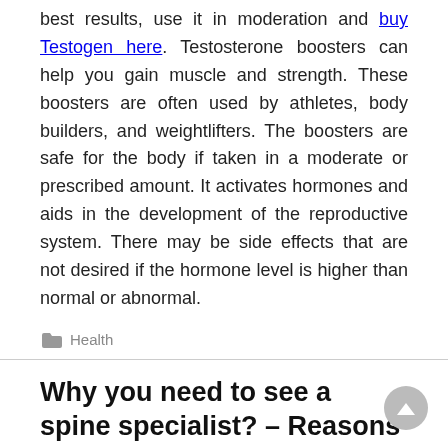best results, use it in moderation and buy Testogen here. Testosterone boosters can help you gain muscle and strength. These boosters are often used by athletes, body builders, and weightlifters. The boosters are safe for the body if taken in a moderate or prescribed amount. It activates hormones and aids in the development of the reproductive system. There may be side effects that are not desired if the hormone level is higher than normal or abnormal.
Health
Why you need to see a spine specialist? – Reasons
July 2, 2021   Silas